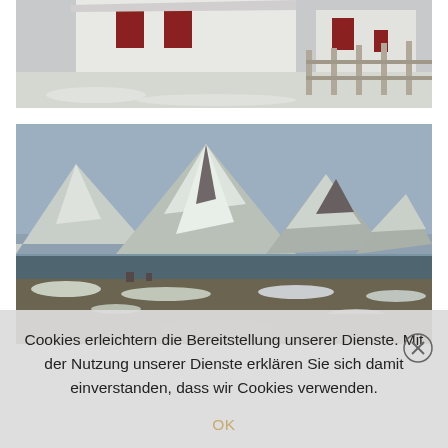[Figure (photo): Partial view of a white wooden building with red door trim, wooden fence, and snow-covered ground — Norwegian coastal architecture]
[Figure (photo): Panoramic winter landscape with snow-covered mountains in the background, rocky tundra terrain, and a fjord or inlet in the middle ground — likely Lofoten Islands, Norway]
Cookies erleichtern die Bereitstellung unserer Dienste. Mit der Nutzung unserer Dienste erklären Sie sich damit einverstanden, dass wir Cookies verwenden.
OK